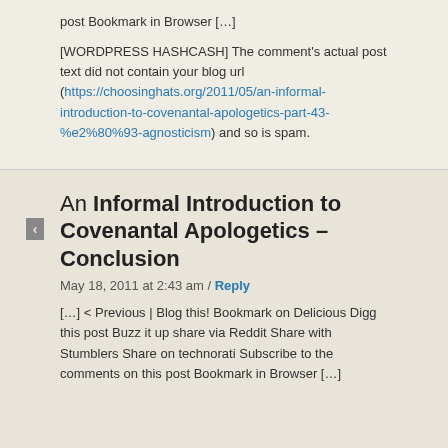post Bookmark in Browser […]
[WORDPRESS HASHCASH] The comment's actual post text did not contain your blog url (https://choosinghats.org/2011/05/an-informal-introduction-to-covenantal-apologetics-part-43-%e2%80%93-agnosticism) and so is spam.
An Informal Introduction to Covenantal Apologetics – Conclusion
May 18, 2011 at 2:43 am / Reply
[…] < Previous | Blog this! Bookmark on Delicious Digg this post Buzz it up share via Reddit Share with Stumblers Share on technorati Subscribe to the comments on this post Bookmark in Browser […]